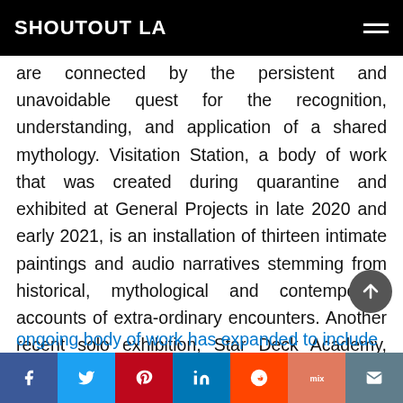SHOUTOUT LA
are connected by the persistent and unavoidable quest for the recognition, understanding, and application of a shared mythology. Visitation Station, a body of work that was created during quarantine and exhibited at General Projects in late 2020 and early 2021, is an installation of thirteen intimate paintings and audio narratives stemming from historical, mythological and contemporary accounts of extra-ordinary encounters. Another recent solo exhibition, Star Deck Academy, featured 144 short videos, 98 paintings, and a limited edition set of tarot-adjacent cards. This
ongoing body of work has expanded to include two new video pieces with...